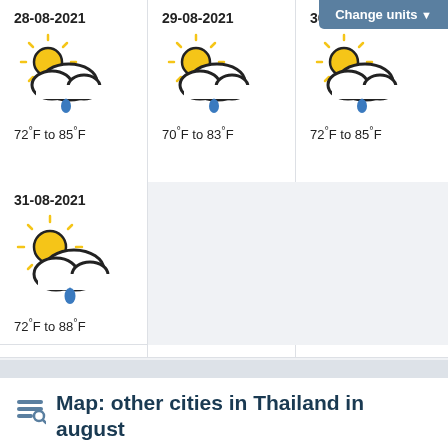Change units ▼
28-08-2021
72°F to 85°F
29-08-2021
70°F to 83°F
30-08-2021
72°F to 85°F
31-08-2021
72°F to 88°F
Map: other cities in Thailand in august
Cities near Chiang Mai: